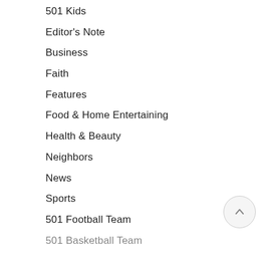501 Kids
Editor's Note
Business
Faith
Features
Food & Home Entertaining
Health & Beauty
Neighbors
News
Sports
501 Football Team
501 Basketball Team